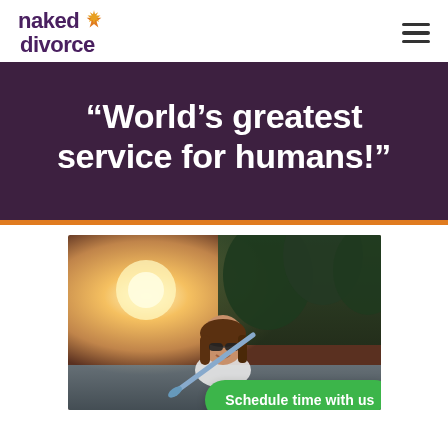naked divorce
“World’s greatest service for humans!”
[Figure (photo): Woman smiling, wearing sunglasses, kayaking on a lake with trees in background and sunlight flare]
Schedule time with us